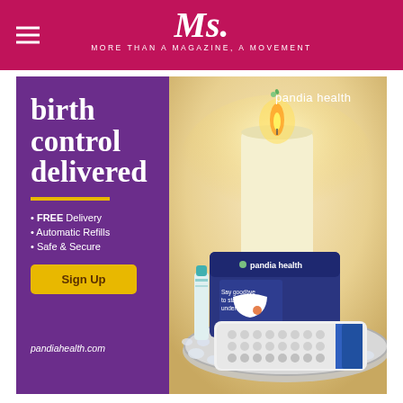Ms. — MORE THAN A MAGAZINE, A MOVEMENT
[Figure (illustration): Pandia Health advertisement showing birth control products including a pill pack, small bottle, and pandia health branded packaging on a silver tray with decorative gems and a candle in the background]
birth control delivered
FREE Delivery
Automatic Refills
Safe & Secure
Sign Up
pandiahealth.com